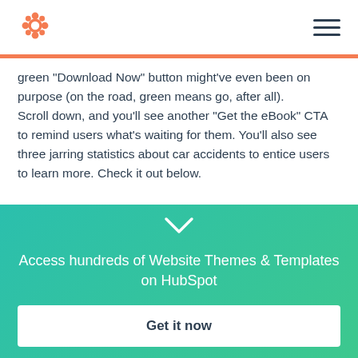HubSpot logo and navigation menu
green "Download Now" button might've even been on purpose (on the road, green means go, after all).
Scroll down, and you'll see another "Get the eBook" CTA to remind users what's waiting for them. You'll also see three jarring statistics about car accidents to entice users to learn more. Check it out below.
[Figure (other): Teal/green gradient banner with chevron down arrow, text 'Access hundreds of Website Themes & Templates on HubSpot', and a white 'Get it now' button]